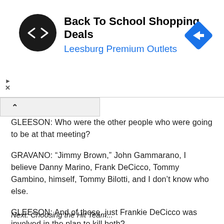[Figure (screenshot): Advertisement banner: Back To School Shopping Deals, Leesburg Premium Outlets, with circular logo and navigation arrow icon]
GLEESON: Who were the other people who were going to be at that meeting?
GRAVANO: “Jimmy Brown,” John Gammarano, I believe Danny Marino, Frank DeCicco, Tommy Gambino, himself, Tommy Bilotti, and I don’t know who else.
GLEESON: And of those, just Frankie DeCicco was involved in the plan to kill both?
GRAVANO: Yes.
Next: Choosing the Hit Team...